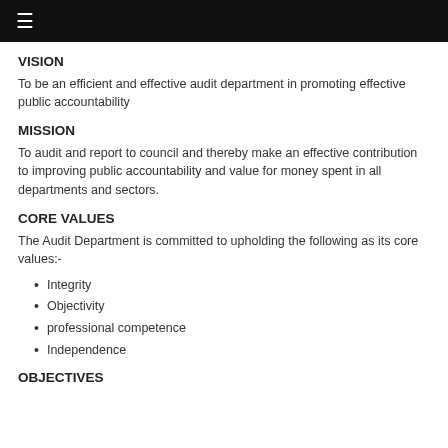≡
VISION
To be an efficient and effective audit department in promoting effective public accountability
MISSION
To audit and report to council and thereby make an effective contribution to improving public accountability and value for money spent in all departments and sectors.
CORE VALUES
The Audit Department is committed to upholding the following as its core values:-
Integrity
Objectivity
professional competence
Independence
OBJECTIVES